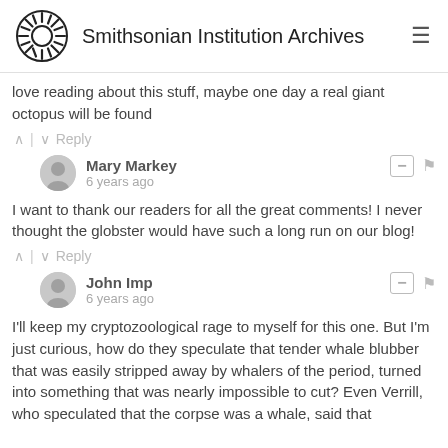Smithsonian Institution Archives
love reading about this stuff, maybe one day a real giant octopus will be found
^ | v   Reply
Mary Markey
6 years ago
I want to thank our readers for all the great comments! I never thought the globster would have such a long run on our blog!
^ | v   Reply
John Imp
6 years ago
I'll keep my cryptozoological rage to myself for this one. But I'm just curious, how do they speculate that tender whale blubber that was easily stripped away by whalers of the period, turned into something that was nearly impossible to cut? Even Verrill, who speculated that the corpse was a whale, said that